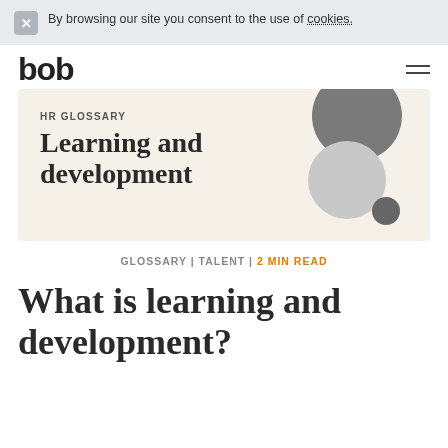By browsing our site you consent to the use of cookies.
[Figure (logo): bob logo in lowercase sans-serif]
[Figure (illustration): HR Glossary hero banner with text 'Learning and development' on a cream background with decorative grey circles]
GLOSSARY | TALENT | 2 MIN READ
What is learning and development?